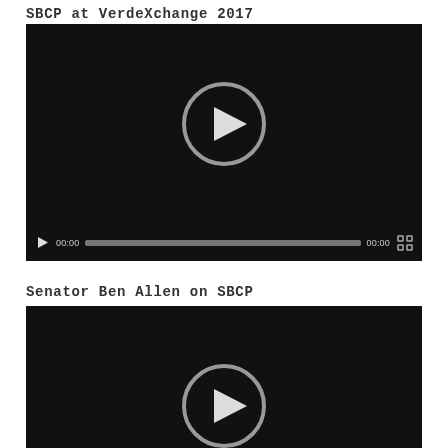SBCP at VerdeXchange 2017
[Figure (screenshot): Video player showing SBCP at VerdeXchange 2017 with play button overlay and controls bar showing 00:00 timestamp]
Senator Ben Allen on SBCP
[Figure (screenshot): Video player showing Senator Ben Allen on SBCP with play button overlay, partially visible]